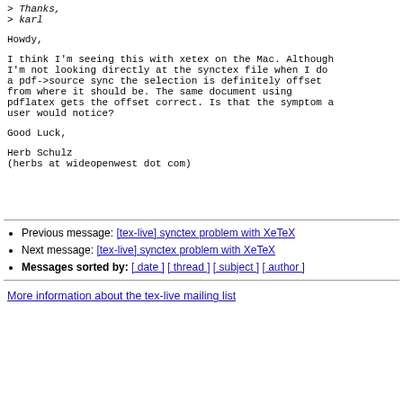> Thanks,
> karl
Howdy,
I think I'm seeing this with xetex on the Mac. Although I'm not looking directly at the synctex file when I do a pdf->source sync the selection is definitely offset from where it should be. The same document using pdflatex gets the offset correct. Is that the symptom a user would notice?
Good Luck,
Herb Schulz
(herbs at wideopenwest dot com)
Previous message: [tex-live] synctex problem with XeTeX
Next message: [tex-live] synctex problem with XeTeX
Messages sorted by: [ date ] [ thread ] [ subject ] [ author ]
More information about the tex-live mailing list